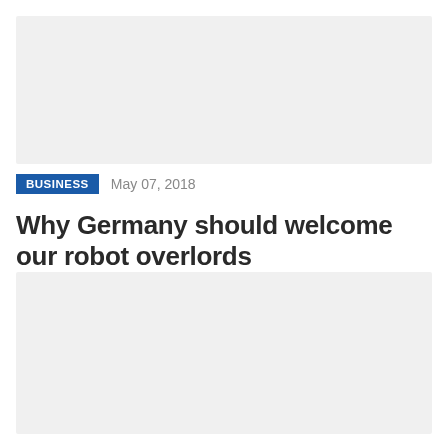[Figure (photo): Top image placeholder area, light gray background]
BUSINESS
May 07, 2018
Why Germany should welcome our robot overlords
[Figure (photo): Bottom image placeholder area, light gray background]